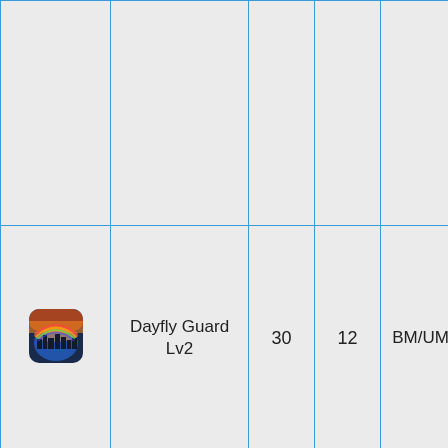|  | Name | Col3 | Col4 | Col5 | Col6 |
| --- | --- | --- | --- | --- | --- |
|  |  |  |  |  |  |
| [icon] | Dayfly Guard
Lv2 | 30 | 12 | BM/UM | 240s |